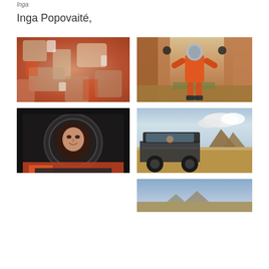Inga
Inga Popovaité,
[Figure (photo): Close-up of reddish rocky minerals/geology surface with white and orange crystalline formations]
[Figure (photo): Person wearing orange spacesuit and reflective helmet standing with arms raised in a canyon with reddish rock walls]
[Figure (photo): Close-up of person's face visible through space helmet visor, wearing orange suit]
[Figure (photo): Off-road utility vehicle/rover in arid desert landscape with rocky buttes in background and blue sky with clouds]
[Figure (photo): Partial view of a landscape photo at bottom of page, appears to show sky and terrain]